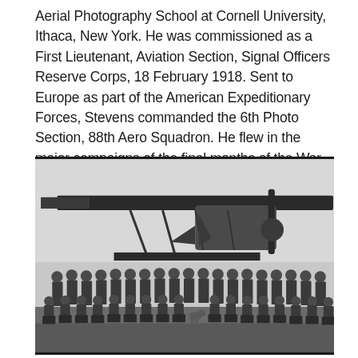Aerial Photography School at Cornell University, Ithaca, New York. He was commissioned as a First Lieutenant, Aviation Section, Signal Officers Reserve Corps, 18 February 1918. Sent to Europe as part of the American Expeditionary Forces, Stevens commanded the 6th Photo Section, 88th Aero Squadron. He flew in the major campaigns of the final months of the War.
[Figure (photo): Black and white group photograph of military personnel (approximately 40 men) posing in two rows in front of a large biplane aircraft. The men are wearing World War I era military uniforms. The back row is standing and the front row is crouching or kneeling. A small dog is visible in the front row. The photo appears to be taken on an airfield.]